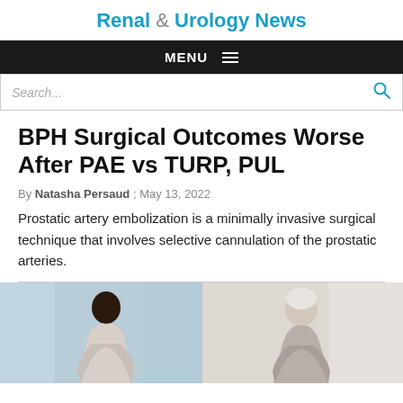Renal & Urology News
MENU
Search...
BPH Surgical Outcomes Worse After PAE vs TURP, PUL
By Natasha Persaud ; May 13, 2022
Prostatic artery embolization is a minimally invasive surgical technique that involves selective cannulation of the prostatic arteries.
[Figure (photo): Two-panel photo: left panel shows a young Black man in profile view in a clinical/office setting; right panel shows an older white-haired man in a similar setting, facing slightly left.]